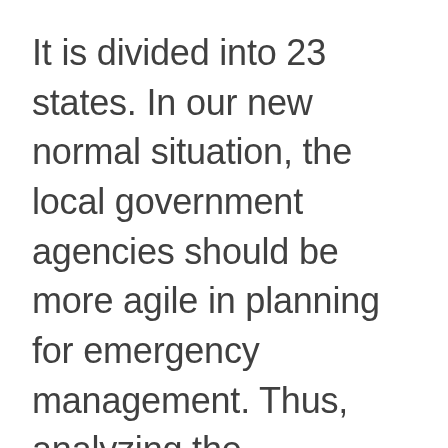It is divided into 23 states. In our new normal situation, the local government agencies should be more agile in planning for emergency management. Thus, analyzing the geographical nature of state boundaries is a big help in monitoring and managing each area for emergency preparedness. A state territory map with Excel data provides a framework to easily analyze and visualize data to completely understand the